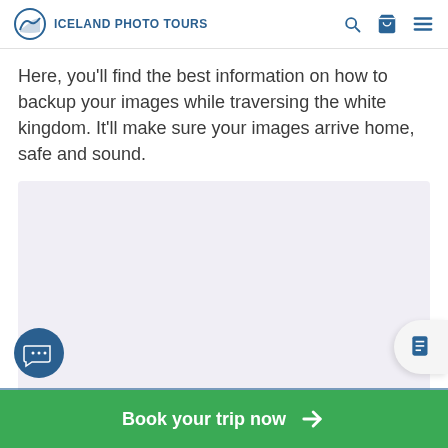ICELAND PHOTO TOURS
Here, you'll find the best information on how to backup your images while traversing the white kingdom. It'll make sure your images arrive home, safe and sound.
[Figure (other): Large light purple/lavender placeholder image area]
Book your trip now →